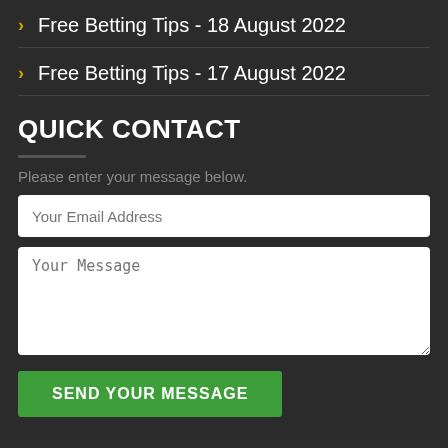Free Betting Tips - 18 August 2022
Free Betting Tips - 17 August 2022
QUICK CONTACT
Please enter your message below.
Your Email Address
Your Message
SEND YOUR MESSAGE